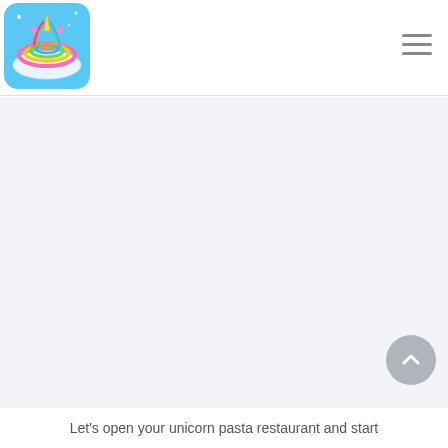[Figure (logo): Colorful unicorn pasta restaurant app icon — rainbow swirled noodles on a plate with a unicorn, bright illustrated style]
[Figure (illustration): Hamburger/menu icon — three horizontal grey lines indicating a navigation menu]
[Figure (other): Light blue-grey empty main content area, likely a placeholder for an embedded video or image]
[Figure (other): Circular scroll-to-top button with upward chevron arrow, grey colored, positioned bottom right]
Let's open your unicorn pasta restaurant and start